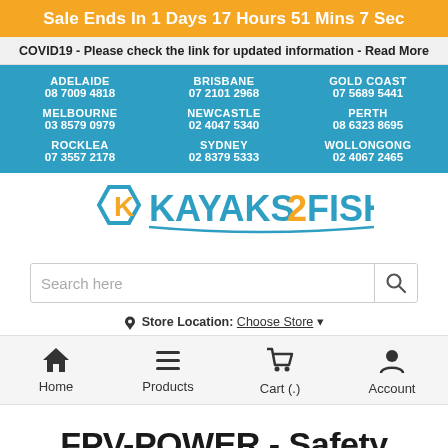Sale Ends In 1 Days 17 Hours 51 Mins 7 Sec
COVID19 - Please check the link for updated information - Read More
| City | Phone |
| --- | --- |
| ADELAIDE | 08 7009 4818 |
| BRISBANE | 07 2101 2968 |
| GOLD COAST | 07 5689 5441 |
| MELBOURNE | 03 8579 0979 |
| NEWCASTLE | 02 4047 5340 |
| PERTH | 08 6323 8695 |
| ROCKLEA | 07 3557 2178 |
| SYDNEY | 02 8379 5333 |
| WOLLONGONG | 02 4067 2465 |
[Figure (logo): Kayaks2Fish logo with orange K in hexagon and blue/orange text KAYAKS2FISH]
Search here
Store Location: Choose Store
Home
Products
Cart (.)
Account
FPV-POWER - Safety